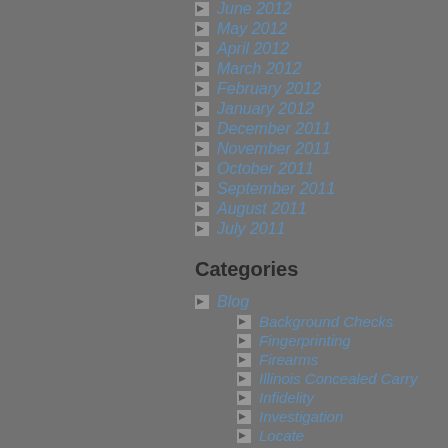June 2012
May 2012
April 2012
March 2012
February 2012
January 2012
December 2011
November 2011
October 2011
September 2011
August 2011
July 2011
Categories
Blog
Background Checks
Fingerprinting
Firearms
Illinois Concealed Carry
Infidelity
Investigation
Locate